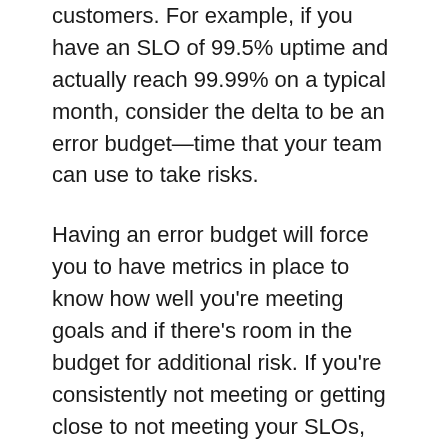customers. For example, if you have an SLO of 99.5% uptime and actually reach 99.99% on a typical month, consider the delta to be an error budget—time that your team can use to take risks.
Having an error budget will force you to have metrics in place to know how well you're meeting goals and if there's room in the budget for additional risk. If you're consistently not meeting or getting close to not meeting your SLOs, then it's time to dial back. Conversely, if you're exceeding goals, then dial up innovation and deploy more features. Like SLOs, the error budget ensures teams are aligned on when to